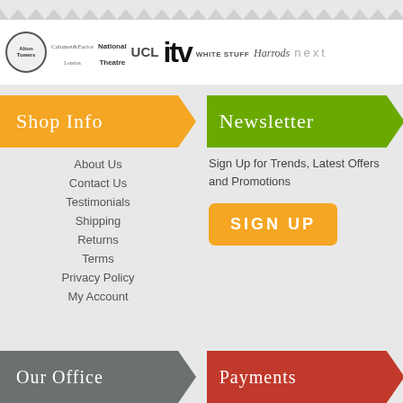[Figure (logo): Row of brand logos: Alton Towers, Calumet & Factor London, National Theatre, UCL, ITV, White Stuff, Harrods, Next]
Shop Info
Newsletter
About Us
Contact Us
Testimonials
Shipping
Returns
Terms
Privacy Policy
My Account
Sign Up for Trends, Latest Offers and Promotions
SIGN UP
Our Office
Payments